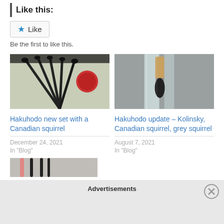Like this:
Like
Be the first to like this.
[Figure (photo): Photo of multiple makeup brushes arranged in a fan pattern on a light surface with a red compact]
Hakuhodo new set with a Canadian squirrel
December 24, 2021
In "Blog"
[Figure (photo): Photo of a makeup brush with wooden handle resting on a gray surface with plastic packaging]
Hakuhodo update – Kolinsky, Canadian squirrel, grey squirrel
August 7, 2021
In "Blog"
[Figure (photo): Partial photo of makeup brushes, cropped at bottom]
Advertisements